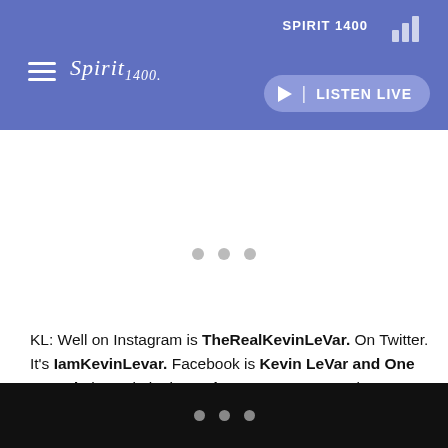SPIRIT 1400 — Spirit 1400 radio app header with hamburger menu, logo, signal icon, and LISTEN LIVE button
[Figure (screenshot): Loading spinner represented by three horizontal grey dots in the white content area]
KL: Well on Instagram is TheRealKevinLeVar. On Twitter. It's IamKevinLevar. Facebook is Kevin LeVar and One Sound, the website is KevinLeVar.com. Man I love you guys, man.
BC: ...
Three dots navigation indicator in black footer bar